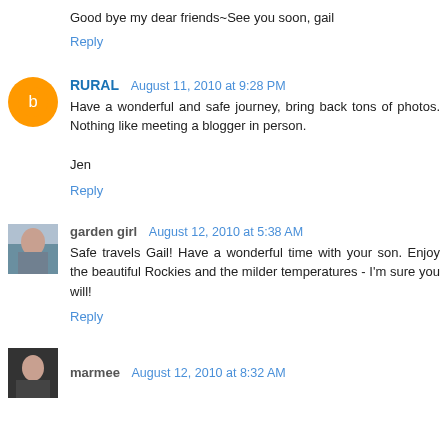Good bye my dear friends~See you soon, gail
Reply
RURAL  August 11, 2010 at 9:28 PM
Have a wonderful and safe journey, bring back tons of photos. Nothing like meeting a blogger in person.

Jen
Reply
garden girl  August 12, 2010 at 5:38 AM
Safe travels Gail! Have a wonderful time with your son. Enjoy the beautiful Rockies and the milder temperatures - I'm sure you will!
Reply
marmee  August 12, 2010 at 8:32 AM